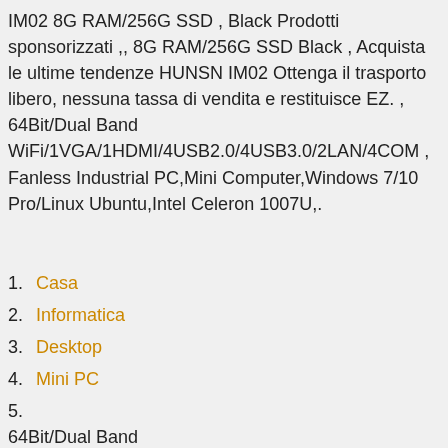IM02 8G RAM/256G SSD , Black Prodotti sponsorizzati ,, 8G RAM/256G SSD Black , Acquista le ultime tendenze HUNSN IM02 Ottenga il trasporto libero, nessuna tassa di vendita e restituisce EZ. , 64Bit/Dual Band WiFi/1VGA/1HDMI/4USB2.0/4USB3.0/2LAN/4COM , Fanless Industrial PC,Mini Computer,Windows 7/10 Pro/Linux Ubuntu,Intel Celeron 1007U,.
1. Casa
2. Informatica
3. Desktop
4. Mini PC
5. 64Bit/Dual Band WiFi/1VGA/1HDMI/4USB2.0/4USB3.0/2LAN/4COM , ,